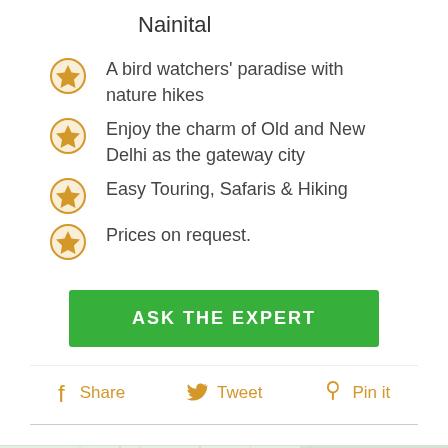Nainital
A bird watchers' paradise with nature hikes
Enjoy the charm of Old and New Delhi as the gateway city
Easy Touring, Safaris & Hiking
Prices on request.
ASK THE EXPERT
Share  Tweet  Pin it
[Figure (map): Map showing northern India region including CHANDIGARH, PUNJAB, UTTARAKHAND labels with location pins and road network]